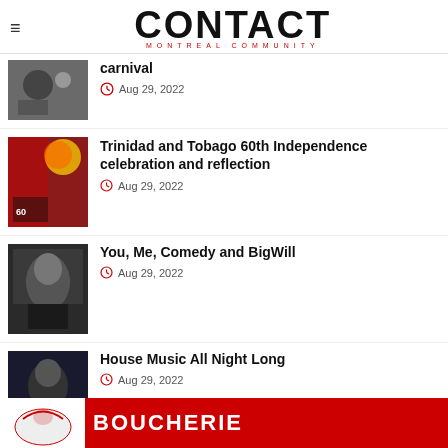CONTACT MONTREAL COMMUNITY
carnival · Aug 29, 2022
Trinidad and Tobago 60th Independence celebration and reflection
Aug 29, 2022
You, Me, Comedy and BigWill
Aug 29, 2022
House Music All Night Long
Aug 29, 2022
[Figure (illustration): BOUCHERIE advertisement banner partial view]